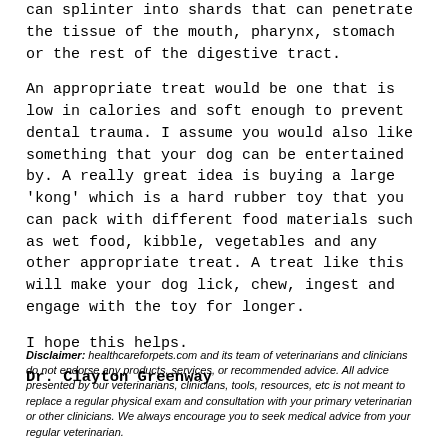can splinter into shards that can penetrate the tissue of the mouth, pharynx, stomach or the rest of the digestive tract.
An appropriate treat would be one that is low in calories and soft enough to prevent dental trauma. I assume you would also like something that your dog can be entertained by. A really great idea is buying a large 'kong' which is a hard rubber toy that you can pack with different food materials such as wet food, kibble, vegetables and any other appropriate treat. A treat like this will make your dog lick, chew, ingest and engage with the toy for longer.
I hope this helps.
Dr. Clayton Greenway
Disclaimer: healthcareforpets.com and its team of veterinarians and clinicians do not endorse any products, services, or recommended advice. All advice presented by our veterinarians, clinicians, tools, resources, etc is not meant to replace a regular physical exam and consultation with your primary veterinarian or other clinicians. We always encourage you to seek medical advice from your regular veterinarian.